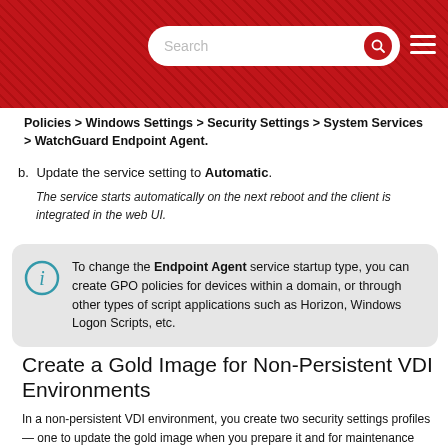Search
Policies > Windows Settings > Security Settings > System Services > WatchGuard Endpoint Agent.
b. Update the service setting to Automatic. The service starts automatically on the next reboot and the client is integrated in the web UI.
To change the Endpoint Agent service startup type, you can create GPO policies for devices within a domain, or through other types of script applications such as Horizon, Windows Logon Scripts, etc.
Create a Gold Image for Non-Persistent VDI Environments
In a non-persistent VDI environment, you create two security settings profiles — one to update the gold image when you prepare it and for maintenance purposes, and one to disable updates when you run the gold image because it does not make sense to update WatchGuard